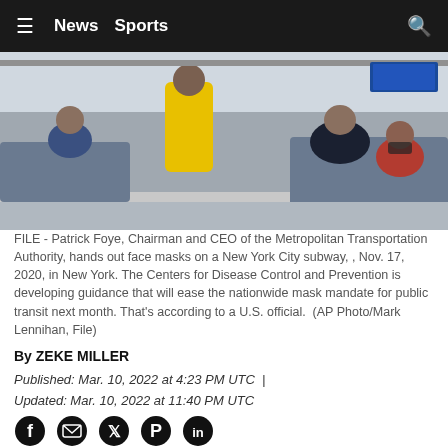≡  News  Sports
[Figure (photo): People on a New York City subway car, one person in a yellow vest handing out face masks to seated passengers wearing winter coats and masks.]
FILE - Patrick Foye, Chairman and CEO of the Metropolitan Transportation Authority, hands out face masks on a New York City subway, , Nov. 17, 2020, in New York. The Centers for Disease Control and Prevention is developing guidance that will ease the nationwide mask mandate for public transit next month. That's according to a U.S. official.  (AP Photo/Mark Lennihan, File)
By ZEKE MILLER
Published: Mar. 10, 2022 at 4:23 PM UTC  |
Updated: Mar. 10, 2022 at 11:40 PM UTC